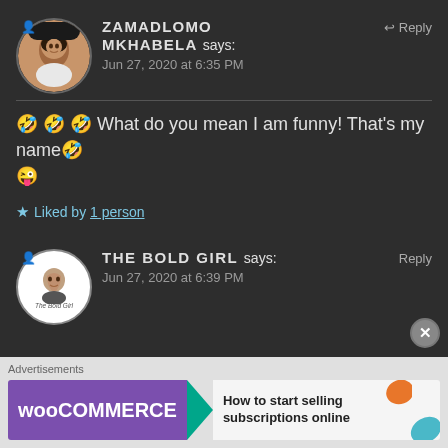ZAMADLOMO MKHABELA says:
Jun 27, 2020 at 6:35 PM
🤣 🤣 🤣 What do you mean I am funny! That's my name🤣 😜
★ Liked by 1 person
THE BOLD GIRL says:
Jun 27, 2020 at 6:39 PM
Advertisements
[Figure (screenshot): WooCommerce advertisement banner: 'How to start selling subscriptions online']